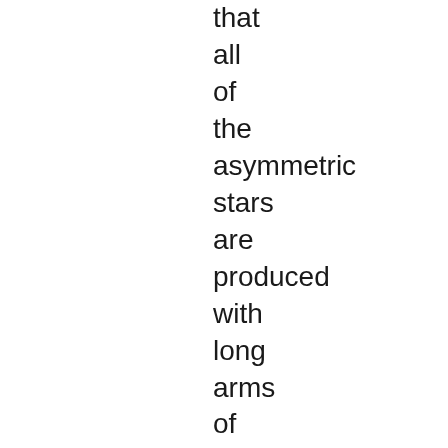that all of the asymmetric stars are produced with long arms of identical molecular weight – the only remaining variable being the